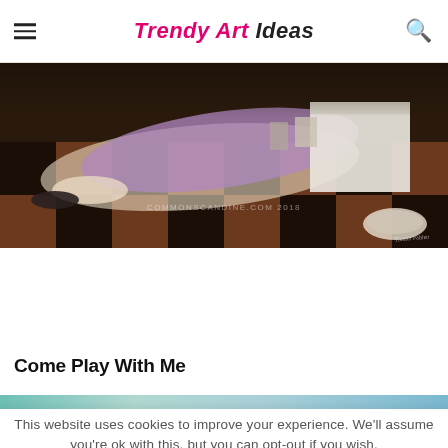Trendy Art Ideas
[Figure (illustration): A surrealist painting showing a girl lying on a black and white checkerboard floor with a box, with a watermark reading COMMONSCANDINE.COM 2018]
Come Play With Me
This website uses cookies to improve your experience. We'll assume you're ok with this, but you can opt-out if you wish.
ACCEPT  Read More